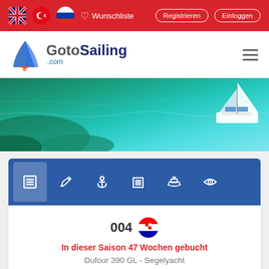Wunschliste  Registrieren  Einloggen
[Figure (logo): GotoSailing.com logo with sailboat icon]
[Figure (photo): Aerial view of turquoise ocean water with a sailboat visible in the top right corner]
[Figure (screenshot): Navigation tab bar with 6 icons: list/document, edit/pencil, anchor, building/hotel, boat/ferry, and eye/view icons on a blue background]
004
In dieser Saison 47 Wochen gebucht
Dufour 390 GL - Segelyacht